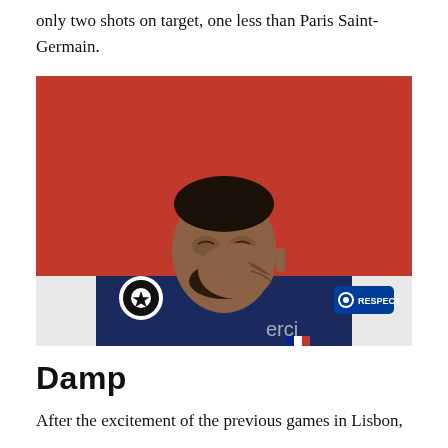only two shots on target, one less than Paris Saint-Germain.
[Figure (photo): A football player wearing a dark navy PSG jersey with UEFA Champions League badge and RESPECT badge, sitting on a red seat, with his hand raised to his face, appearing emotional or upset.]
Damp
After the excitement of the previous games in Lisbon,